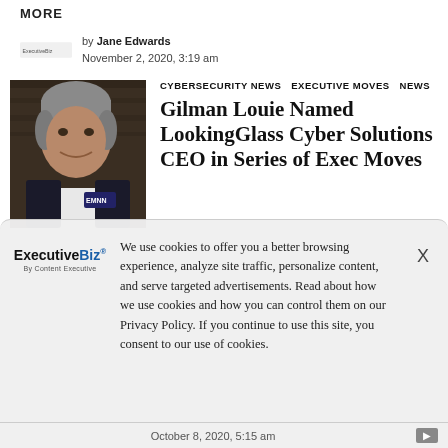MORE
by Jane Edwards
November 2, 2020, 3:19 am
CYBERSECURITY NEWS   EXECUTIVE MOVES NEWS
Gilman Louie Named LookingGlass Cyber Solutions CEO in Series of Exec Moves
[Figure (photo): Headshot photo of Gilman Louie, a man with gray hair, smiling, wearing a dark suit and white shirt, with 'EMNN' badge visible]
We use cookies to offer you a better browsing experience, analyze site traffic, personalize content, and serve targeted advertisements. Read about how we use cookies and how you can control them on our Privacy Policy. If you continue to use this site, you consent to our use of cookies.
October 8, 2020, 5:15 am